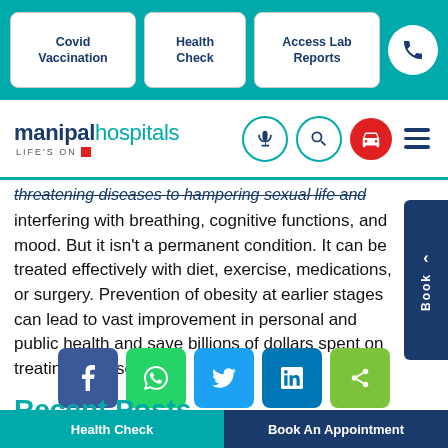Covid Vaccination | Health Check | Access Lab Reports
[Figure (logo): Manipal Hospitals logo with LIFE'S ON tagline and navigation icons (microphone, search, ambulance, hamburger menu)]
threatening diseases to hampering sexual life and interfering with breathing, cognitive functions, and mood. But it isn't a permanent condition. It can be treated effectively with diet, exercise, medications, or surgery. Prevention of obesity at earlier stages can lead to vast improvement in personal and public health and save billions of dollars spent on treating diseases.
[Figure (infographic): Social sharing buttons: Facebook, WhatsApp, Twitter, LinkedIn, Share]
Recent Posts
Health Check | Book An Appointment